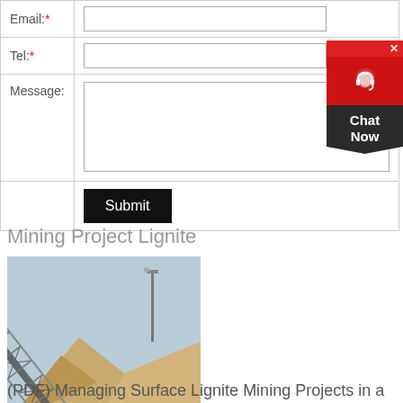| Email:* | (text input) |
| Tel:* | (text input) |
| Message: | (textarea) |
|  | Submit |
Mining Project Lignite
[Figure (photo): Industrial conveyor belt structure for mining operations, with steel framework and guardrails angled upward, with aggregate/gravel piles and a light pole in the background.]
(PDF) Managing Surface Lignite Mining Projects in a